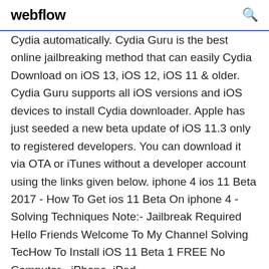webflow
Cydia automatically. Cydia Guru is the best online jailbreaking method that can easily Cydia Download on iOS 13, iOS 12, iOS 11 & older. Cydia Guru supports all iOS versions and iOS devices to install Cydia downloader. Apple has just seeded a new beta update of iOS 11.3 only to registered developers. You can download it via OTA or iTunes without a developer account using the links given below. iphone 4 ios 11 Beta 2017 - How To Get ios 11 Beta On iphone 4 - Solving Techniques Note:- Jailbreak Required Hello Friends Welcome To My Channel Solving TecHow To Install iOS 11 Beta 1 FREE No Computer - iPhone, iPad... https://youtube.com/watch5. 6. 20172,29 mil.